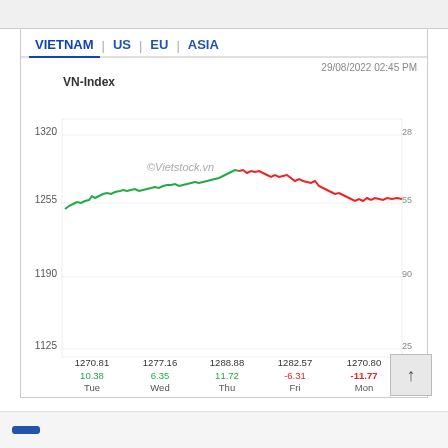VIETNAM | US | EU | ASIA
[Figure (line-chart): VN-Index]